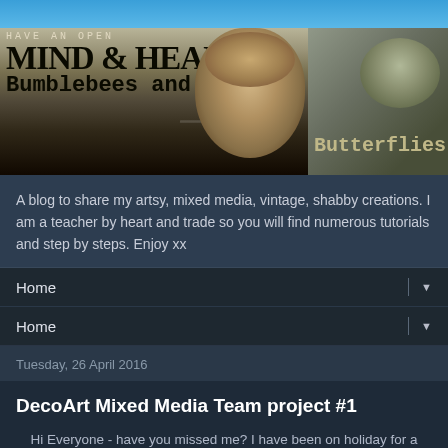[Figure (screenshot): Blog header banner with text 'HAVE AN OPEN MIND & HEART Bumblebees and Butterflies' overlaid on a road/nature background with butterfly images]
A blog to share my artsy, mixed media, vintage, shabby creations. I am a teacher by heart and trade so you will find numerous tutorials and step by steps. Enjoy xx
Home
Home
Tuesday, 26 April 2016
DecoArt Mixed Media Team project #1
Hi Everyone - have you missed me? I have been on holiday for a couple of weeks so my posts were scheduled whilst I was away. Having found the sun in Lanzarote I would still be back there but here I am smiting for this lot x